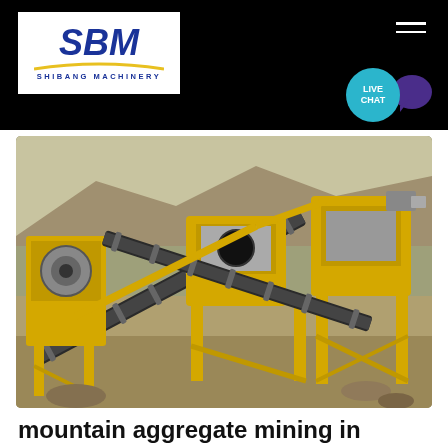SBM SHIBANG MACHINERY - navigation header with live chat
[Figure (photo): Yellow mining aggregate crushing and conveyor equipment at a quarry site in South Africa, with rocky terrain and construction vehicles in the background]
mountain aggregate mining in south africa